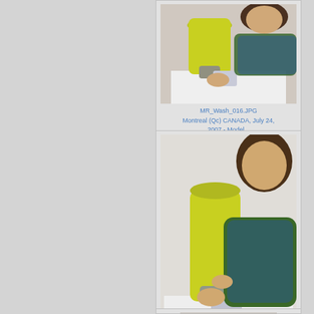[Figure (photo): Woman pouring laundry detergent from a yellow bottle into a measuring cup over a washing machine. She is wearing a tie-dye shirt. Photo thumbnail.]
MR_Wash_016.JPG
Montreal (Qc) CANADA, July 24, 2007 - Model...
[Figure (photo): Woman pouring laundry detergent from a yellow bottle into a measuring cup over a washing machine. She is wearing a tie-dye shirt. Closer/different angle. Photo thumbnail.]
MR_Wash_015.JPG
Montreal (Qc) CANADA, July 24, 2007 - Model...
[Figure (photo): Partial view of woman near washing machine. Bottom of page, partially visible.]